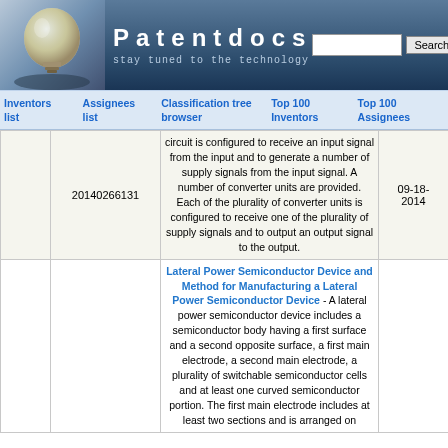[Figure (logo): Patentdocs website header with light bulb logo, site title 'Patentdocs', tagline 'stay tuned to the technology', and a search box with Search button]
Inventors list | Assignees list | Classification tree browser | Top 100 Inventors | Top 100 Assignees
|  | Patent Number | Description | Date |
| --- | --- | --- | --- |
|  | 20140266131 | circuit is configured to receive an input signal from the input and to generate a number of supply signals from the input signal. A number of converter units are provided. Each of the plurality of converter units is configured to receive one of the plurality of supply signals and to output an output signal to the output. | 09-18-2014 |
|  |  | Lateral Power Semiconductor Device and Method for Manufacturing a Lateral Power Semiconductor Device - A lateral power semiconductor device includes a semiconductor body having a first surface and a second opposite surface, a first main electrode, a second main electrode, a plurality of switchable semiconductor cells and at least one curved semiconductor portion. The first main electrode includes at least two sections and is arranged on |  |